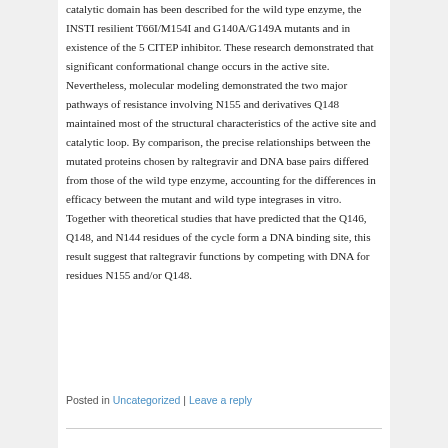catalytic domain has been described for the wild type enzyme, the INSTI resilient T66I/M154I and G140A/G149A mutants and in existence of the 5 CITEP inhibitor. These research demonstrated that significant conformational change occurs in the active site. Nevertheless, molecular modeling demonstrated the two major pathways of resistance involving N155 and derivatives Q148 maintained most of the structural characteristics of the active site and catalytic loop. By comparison, the precise relationships between the mutated proteins chosen by raltegravir and DNA base pairs differed from those of the wild type enzyme, accounting for the differences in efficacy between the mutant and wild type integrases in vitro. Together with theoretical studies that have predicted that the Q146, Q148, and N144 residues of the cycle form a DNA binding site, this result suggest that raltegravir functions by competing with DNA for residues N155 and/or Q148.
Posted in Uncategorized | Leave a reply